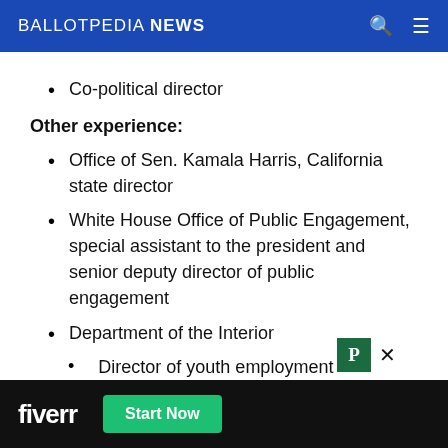BALLOTPEDIA NEWS
Co-political director
Other experience:
Office of Sen. Kamala Harris, California state director
White House Office of Public Engagement, special assistant to the president and senior deputy director of public engagement
Department of the Interior
Director of youth employment
Interior Ken Salazar